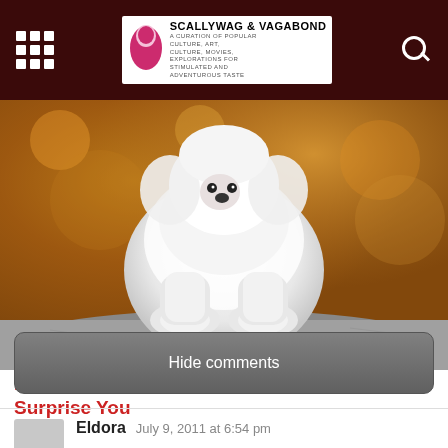Scallywag & Vagabond - A Curation of Popular Culture, Art, Culture, Movies, Explorations for Stimulated and Adventurous Taste
[Figure (photo): White fluffy dog (Maltese or similar breed) sitting on a stone surface with bokeh autumn background in orange and yellow tones]
15 Best Dog Breeds for Seniors - No. 7 Will Surprise You
Hide comments
Eldora   July 9, 2011 at 6:54 pm